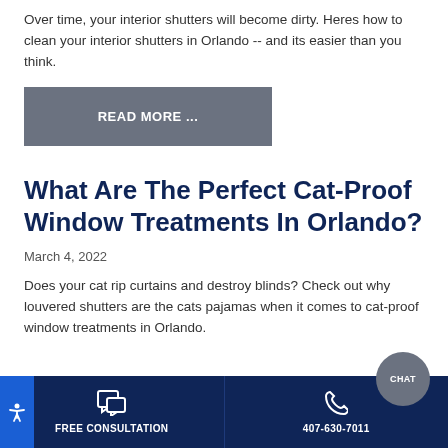Over time, your interior shutters will become dirty. Heres how to clean your interior shutters in Orlando -- and its easier than you think.
READ MORE ...
What Are The Perfect Cat-Proof Window Treatments In Orlando?
March 4, 2022
Does your cat rip curtains and destroy blinds? Check out why louvered shutters are the cats pajamas when it comes to cat-proof window treatments in Orlando.
FREE CONSULTATION | 407-630-7011 | CHAT